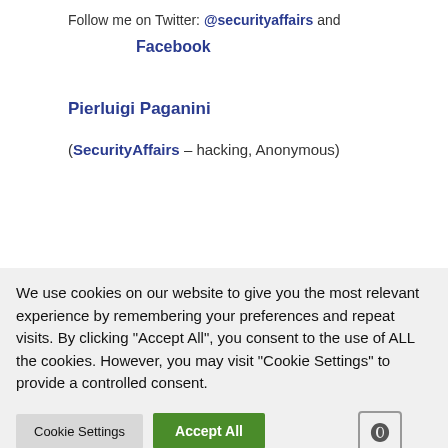Follow me on Twitter: @securityaffairs and Facebook
Pierluigi Paganini
(SecurityAffairs – hacking, Anonymous)
We use cookies on our website to give you the most relevant experience by remembering your preferences and repeat visits. By clicking "Accept All", you consent to the use of ALL the cookies. However, you may visit "Cookie Settings" to provide a controlled consent.